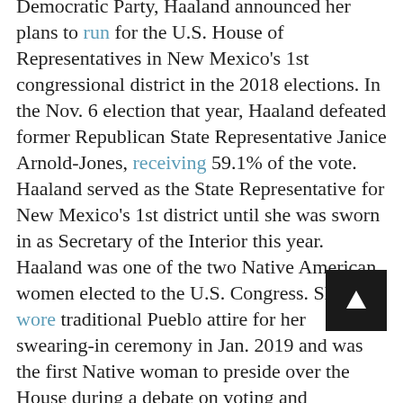Democratic Party, Haaland announced her plans to run for the U.S. House of Representatives in New Mexico's 1st congressional district in the 2018 elections. In the Nov. 6 election that year, Haaland defeated former Republican State Representative Janice Arnold-Jones, receiving 59.1% of the vote. Haaland served as the State Representative for New Mexico's 1st district until she was sworn in as Secretary of the Interior this year. Haaland was one of the two Native American women elected to the U.S. Congress. She wore traditional Pueblo attire for her swearing-in ceremony in Jan. 2019 and was the first Native woman to preside over the House during a debate on voting and campaign finance. Haaland was appointed to the Committee on Armed Services, the Committee on Natural Resources, and the Committee on Oversight and Reform. She was also the Co-Chair of the Congressional Native American Caucus. After her win, Haaland outlined her goals for